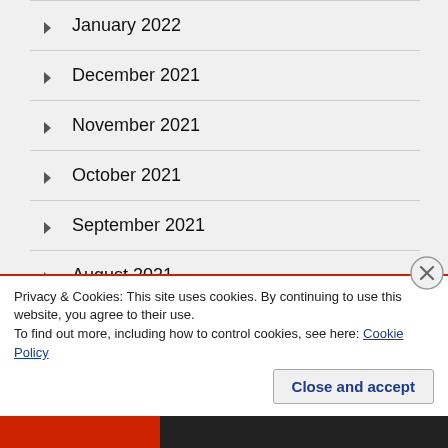January 2022
December 2021
November 2021
October 2021
September 2021
August 2021
July 2021
June 2021
Privacy & Cookies: This site uses cookies. By continuing to use this website, you agree to their use.
To find out more, including how to control cookies, see here: Cookie Policy
Close and accept